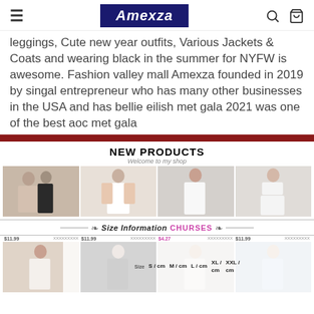Amexza
leggings, Cute new year outfits, Various Jackets & Coats and wearing black in the summer for NYFW is awesome. Fashion valley mall Amexza founded in 2019 by singal entrepreneur who has many other businesses in the USA and has bellie eilish met gala 2021 was one of the best aoc met gala
NEW PRODUCTS
Welcome to my shop
[Figure (photo): Four fashion product photos showing women in dresses and outfits]
Size Information CHURSES
[Figure (photo): Four fashion product photos showing women in various outfits with size table overlay showing Size, S/cm, M/cm, L/cm, XL/cm, XXL/cm]